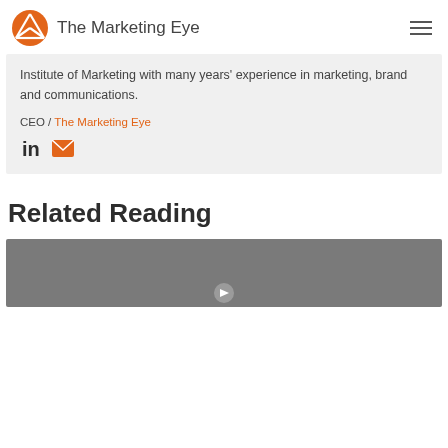The Marketing Eye
Institute of Marketing with many years' experience in marketing, brand and communications.
CEO / The Marketing Eye
[Figure (other): LinkedIn and email social icons]
Related Reading
[Figure (photo): Dark grey image with a play button at the bottom center, part of a related reading card]